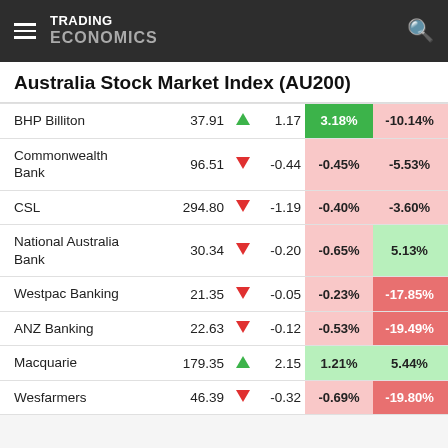TRADING ECONOMICS
Australia Stock Market Index (AU200)
|  | Price |  | Change | % Day | % Year |
| --- | --- | --- | --- | --- | --- |
| BHP Billiton | 37.91 | ▲ | 1.17 | 3.18% | -10.14% |
| Commonwealth Bank | 96.51 | ▼ | -0.44 | -0.45% | -5.53% |
| CSL | 294.80 | ▼ | -1.19 | -0.40% | -3.60% |
| National Australia Bank | 30.34 | ▼ | -0.20 | -0.65% | 5.13% |
| Westpac Banking | 21.35 | ▼ | -0.05 | -0.23% | -17.85% |
| ANZ Banking | 22.63 | ▼ | -0.12 | -0.53% | -19.49% |
| Macquarie | 179.35 | ▲ | 2.15 | 1.21% | 5.44% |
| Wesfarmers | 46.39 | ▼ | -0.32 | -0.69% | -19.80% |